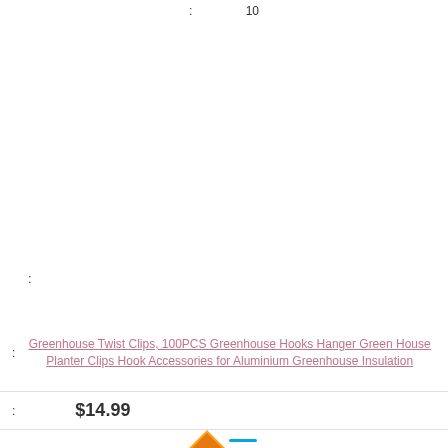: 10
[Figure (photo): Product photo showing approximately 25 dark green plastic greenhouse twist clips/hooks arranged in a grid pattern against a white background]
:
Greenhouse Twist Clips, 100PCS Greenhouse Hooks Hanger Green House Planter Clips Hook Accessories for Aluminium Greenhouse Insulation
: $14.99
[Figure (logo): Amazon logo partial - orange triangle/arrow icon visible]